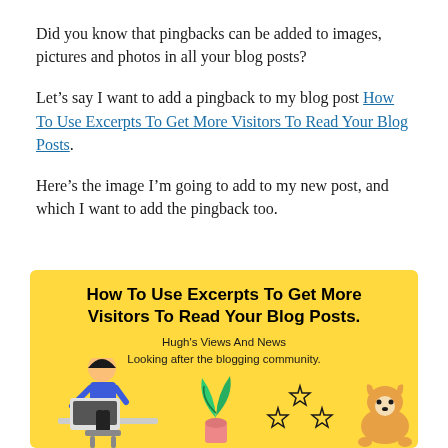Did you know that pingbacks can be added to images, pictures and photos in all your blog posts?
Let's say I want to add a pingback to my blog post How To Use Excerpts To Get More Visitors To Read Your Blog Posts.
Here's the image I'm going to add to my new post, and which I want to add the pingback too.
[Figure (illustration): Yellow background infographic image with bold title 'How To Use Excerpts To Get More Visitors To Read Your Blog Posts.' and subtitle 'Hugh's Views And News / Looking after the blogging community.' with illustrated person at laptop, plant, stars and corgi dog.]